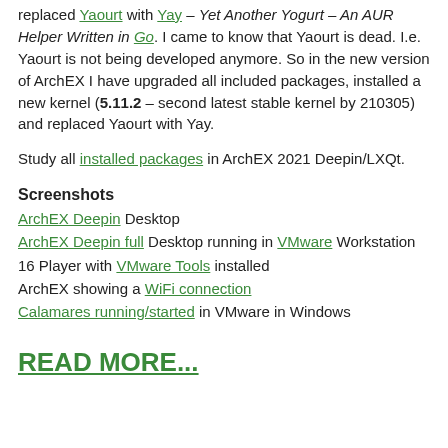replaced Yaourt with Yay – Yet Another Yogurt – An AUR Helper Written in Go. I came to know that Yaourt is dead. I.e. Yaourt is not being developed anymore. So in the new version of ArchEX I have upgraded all included packages, installed a new kernel (5.11.2 – second latest stable kernel by 210305) and replaced Yaourt with Yay.
Study all installed packages in ArchEX 2021 Deepin/LXQt.
Screenshots
ArchEX Deepin Desktop
ArchEX Deepin full Desktop running in VMware Workstation 16 Player with VMware Tools installed
ArchEX showing a WiFi connection
Calamares running/started in VMware in Windows
READ MORE...